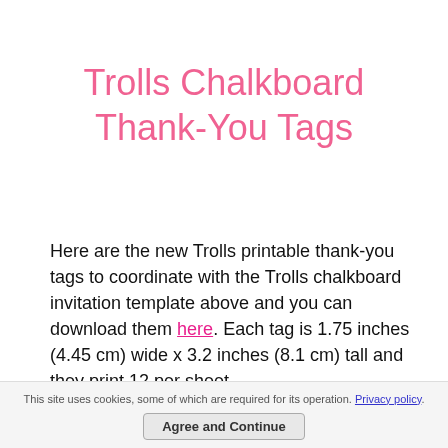Trolls Chalkboard Thank-You Tags
Here are the new Trolls printable thank-you tags to coordinate with the Trolls chalkboard invitation template above and you can download them here. Each tag is 1.75 inches (4.45 cm) wide x 3.2 inches (8.1 cm) tall and they print 12 per sheet.
This site uses cookies, some of which are required for its operation. Privacy policy. Agree and Continue